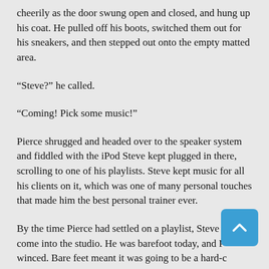cheerily as the door swung open and closed, and hung up his coat. He pulled off his boots, switched them out for his sneakers, and then stepped out onto the empty matted area.
“Steve?” he called.
“Coming! Pick some music!”
Pierce shrugged and headed over to the speaker system and fiddled with the iPod Steve kept plugged in there, scrolling to one of his playlists. Steve kept music for all his clients on it, which was one of many personal touches that made him the best personal trainer ever.
By the time Pierce had settled on a playlist, Steve had come into the studio. He was barefoot today, and Pierce winced. Bare feet meant it was going to be a hard-core cardio day.